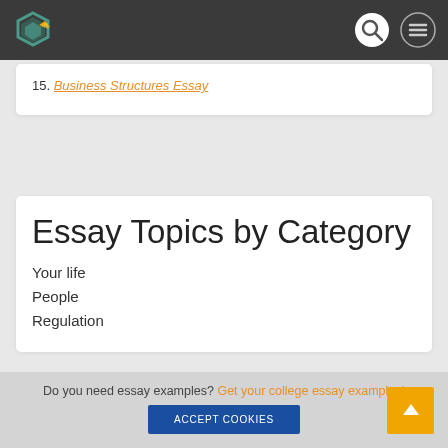Navigation bar with logo and search/menu icons
15. Business Structures Essay
Essay Topics by Category
Your life
People
Regulation
Do you need essay examples? Get your college essay examples!
Accept Cookies